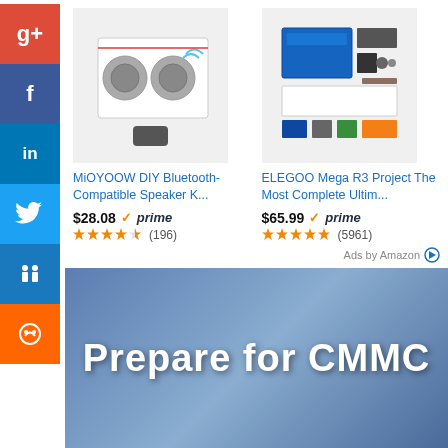[Figure (screenshot): MiOYOOW DIY Bluetooth-Compatible Speaker Kit product image]
[Figure (screenshot): ELEGOO Mega R3 Project The Most Complete Ultimate Starter Kit product image]
MiOYOOW DIY Bluetooth-Compatible Speaker K...
ELEGOO Mega R3 Project The Most Complete Ultim...
$28.08 ✓prime (196)
$65.99 ✓prime (5961)
Ads by Amazon
[Figure (infographic): Social media icons bar on left: Google+, Facebook, LinkedIn, Twitter, Digg, StumbleUpon]
[Figure (illustration): Blue banner advertisement with bold white text: Prepare for CMMC]